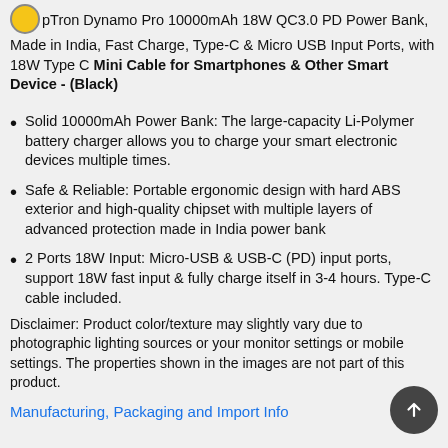pTron Dynamo Pro 10000mAh 18W QC3.0 PD Power Bank, Made in India, Fast Charge, Type-C & Micro USB Input Ports, with 18W Type C Mini Cable for Smartphones & Other Smart Device - (Black)
Solid 10000mAh Power Bank: The large-capacity Li-Polymer battery charger allows you to charge your smart electronic devices multiple times.
Safe & Reliable: Portable ergonomic design with hard ABS exterior and high-quality chipset with multiple layers of advanced protection made in India power bank
2 Ports 18W Input: Micro-USB & USB-C (PD) input ports, support 18W fast input & fully charge itself in 3-4 hours. Type-C cable included.
Disclaimer: Product color/texture may slightly vary due to photographic lighting sources or your monitor settings or mobile settings. The properties shown in the images are not part of this product.
Manufacturing, Packaging and Import Info